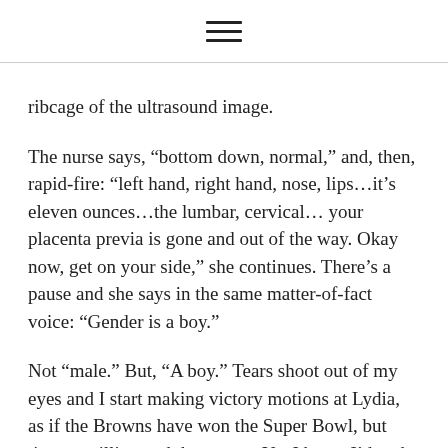≡
ribcage of the ultrasound image.
The nurse says, “bottom down, normal,” and, then, rapid-fire: “left hand, right hand, nose, lips…it’s eleven ounces…the lumbar, cervical… your placenta previa is gone and out of the way. Okay now, get on your side,” she continues. There’s a pause and she says in the same matter-of-fact voice: “Gender is a boy.”
Not “male.” But, “A boy.” Tears shoot out of my eyes and I start making victory motions at Lydia, as if the Browns have won the Super Bowl, but times a trillion and then some. Yet I know I’d make the